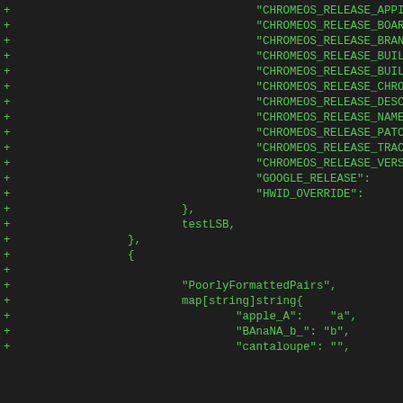Code diff showing ChromeOS release keys and PoorlyFormattedPairs map, with lines prefixed by + signs indicating additions.